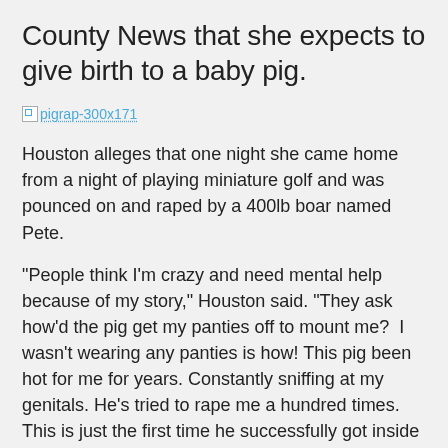County News that she expects to give birth to a baby pig.
[Figure (other): Broken image placeholder link labeled pigrap-300x171]
Houston alleges that one night she came home from a night of playing miniature golf and was pounced on and raped by a 400lb boar named Pete.
“People think I’m crazy and need mental help because of my story,” Houston said. “They ask how’d the pig get my panties off to mount me?  I wasn’t wearing any panties is how! This pig been hot for me for years. Constantly sniffing at my genitals. He’s tried to rape me a hundred times. This is just the first time he successfully got inside me.”
Angie’s parents are supporting her claims